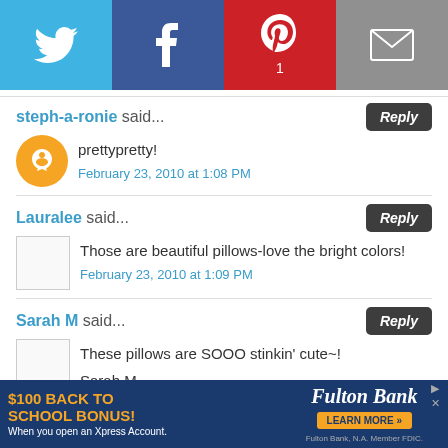[Figure (infographic): Social sharing bar with Twitter (blue), Facebook (dark blue), Pinterest with count 1 (red), and Email (gray) buttons]
steph-a-ronie said...
prettypretty!
February 23, 2010 at 1:08 PM
Lauralee said...
Those are beautiful pillows-love the bright colors!
February 23, 2010 at 1:09 PM
Sarah M said...
These pillows are SOOO stinkin' cute~!
Sarah M
[Figure (infographic): Advertisement banner: $100 Back to School Bonus, Fulton Bank, When you open an Xpress Account, Learn More button]